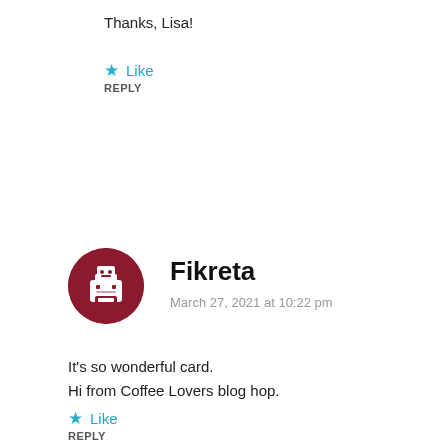Thanks, Lisa!
★ Like
REPLY
[Figure (illustration): Circular avatar with dark red background and white printer/robot icon for user Fikreta]
Fikreta
March 27, 2021 at 10:22 pm
It's so wonderful card.
Hi from Coffee Lovers blog hop.
★ Like
REPLY